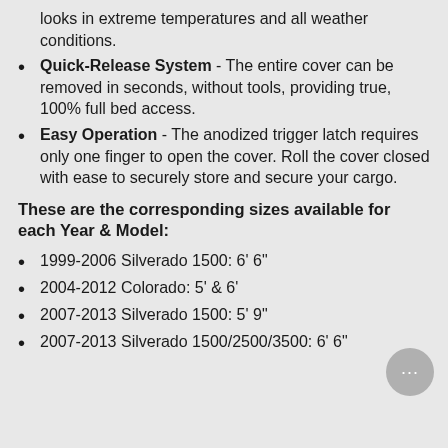looks in extreme temperatures and all weather conditions.
Quick-Release System - The entire cover can be removed in seconds, without tools, providing true, 100% full bed access.
Easy Operation - The anodized trigger latch requires only one finger to open the cover. Roll the cover closed with ease to securely store and secure your cargo.
These are the corresponding sizes available for each Year & Model:
1999-2006 Silverado 1500: 6' 6"
2004-2012 Colorado: 5' & 6'
2007-2013 Silverado 1500: 5' 9"
2007-2013 Silverado 1500/2500/3500: 6' 6"